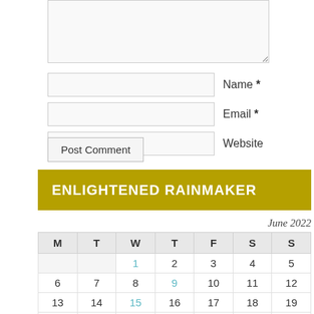[Figure (screenshot): Textarea form field for comment input]
Name *
Email *
Website
Post Comment
ENLIGHTENED RAINMAKER
| M | T | W | T | F | S | S |
| --- | --- | --- | --- | --- | --- | --- |
|  |  | 1 | 2 | 3 | 4 | 5 |
| 6 | 7 | 8 | 9 | 10 | 11 | 12 |
| 13 | 14 | 15 | 16 | 17 | 18 | 19 |
| 20 | 21 | 22 | 23 | 24 | 25 | 26 |
| 27 | 28 | 29 | 30 |  |  |  |